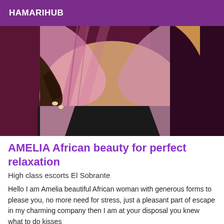HAMARIHUB
[Figure (photo): Close-up photo of a woman in a pink mesh top and black outfit, showing midsection area against a dark purple/maroon background.]
AMELIA African beauty for perfect relaxation
High class escorts El Sobrante
Hello I am Amelia beautiful African woman with generous forms to please you, no more need for stress, just a pleasant part of escape in my charming company then I am at your disposal you knew what to do kisses